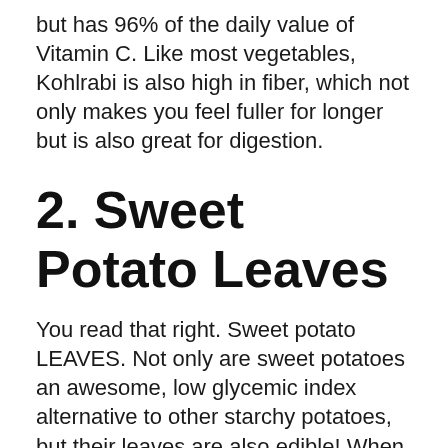but has 96% of the daily value of Vitamin C. Like most vegetables, Kohlrabi is also high in fiber, which not only makes you feel fuller for longer but is also great for digestion.
2. Sweet Potato Leaves
You read that right. Sweet potato LEAVES. Not only are sweet potatoes an awesome, low glycemic index alternative to other starchy potatoes, but their leaves are also edible! When cooked, these leaves have a similar taste to spinach and add lots of great nutrients to your diet.
Like most vegetables, from vegetables...